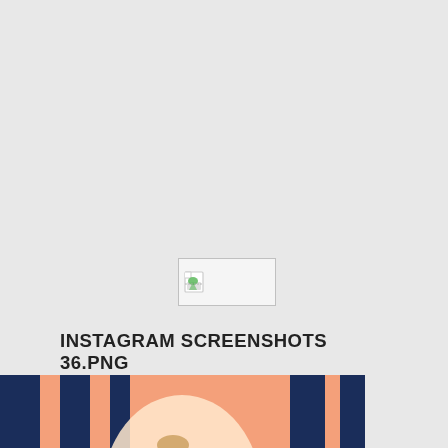[Figure (other): Broken image placeholder icon — a small rectangle with a torn/broken image icon in the top-left corner, shown on a light gray background]
INSTAGRAM SCREENSHOTS 36.PNG
[Figure (illustration): Colorful illustration showing a performer/speaker on a stage with a spotlight behind them, pointing outward, wearing a brown jacket. In the foreground is a child in a red tank top watching from below, surrounded by a crowd and stylized teal/blue stage elements. Background has orange and dark blue vertical stripes.]